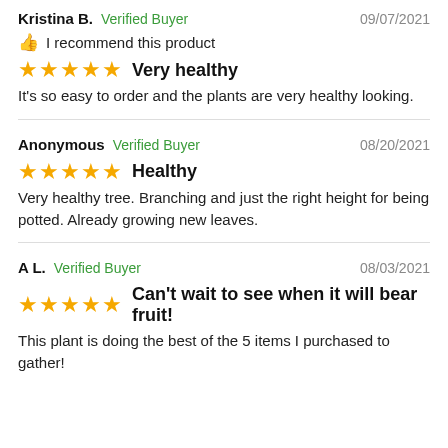Kristina B.  Verified Buyer  09/07/2021
👍 I recommend this product
★★★★★  Very healthy
It's so easy to order and the plants are very healthy looking.
Anonymous  Verified Buyer  08/20/2021
★★★★★  Healthy
Very healthy tree. Branching and just the right height for being potted. Already growing new leaves.
A L.  Verified Buyer  08/03/2021
★★★★★  Can't wait to see when it will bear fruit!
This plant is doing the best of the 5 items I purchased to gather!